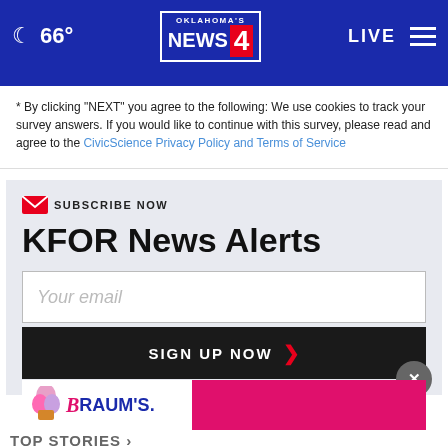66° Oklahoma's News 4 LIVE
* By clicking "NEXT" you agree to the following: We use cookies to track your survey answers. If you would like to continue with this survey, please read and agree to the CivicScience Privacy Policy and Terms of Service
SUBSCRIBE NOW
KFOR News Alerts
Your email
SIGN UP NOW ›
[Figure (logo): Braum's advertisement banner with logo and food images]
TOP STORIES ›